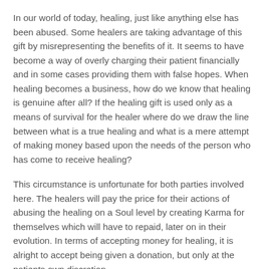In our world of today, healing, just like anything else has been abused. Some healers are taking advantage of this gift by misrepresenting the benefits of it. It seems to have become a way of overly charging their patient financially and in some cases providing them with false hopes. When healing becomes a business, how do we know that healing is genuine after all? If the healing gift is used only as a means of survival for the healer where do we draw the line between what is a true healing and what is a mere attempt of making money based upon the needs of the person who has come to receive healing?
This circumstance is unfortunate for both parties involved here. The healers will pay the price for their actions of abusing the healing on a Soul level by creating Karma for themselves which will have to repaid, later on in their evolution. In terms of accepting money for healing, it is alright to accept being given a donation, but only at the patients own discretion.